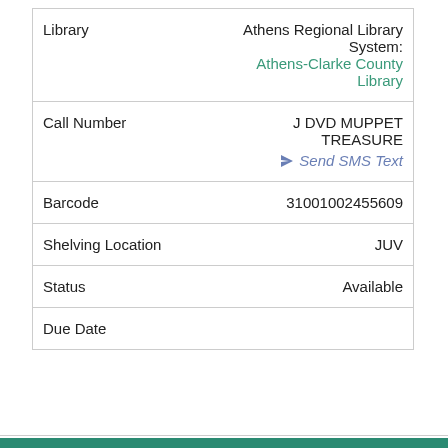| Field | Value |
| --- | --- |
| Library | Athens Regional Library System: Athens-Clarke County Library |
| Call Number | J DVD MUPPET TREASURE
Send SMS Text |
| Barcode | 31001002455609 |
| Shelving Location | JUV |
| Status | Available |
| Due Date |  |